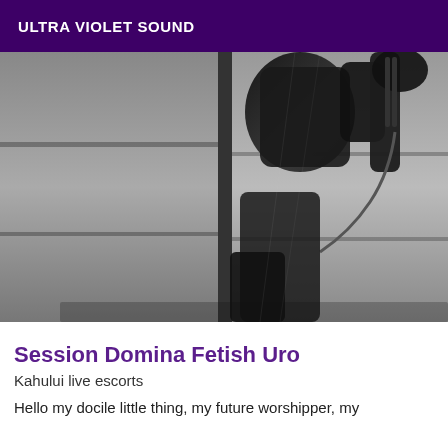ULTRA VIOLET SOUND
[Figure (photo): Black and white photo of a person in dark leather/latex clothing and high boots, photographed from a low angle against a wooden panel background.]
Session Domina Fetish Uro
Kahului live escorts
Hello my docile little thing, my future worshipper, my